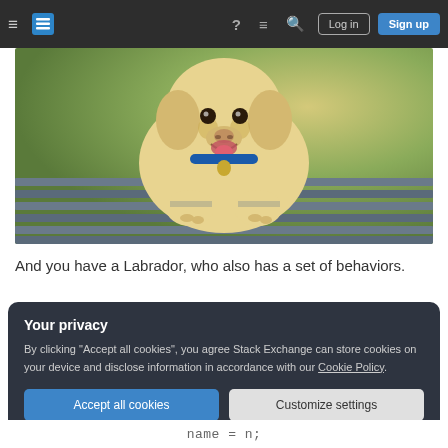Stack Exchange navigation bar with hamburger menu, logo, help, chat, search icons, Log in and Sign up buttons
[Figure (photo): A smiling yellow Labrador Retriever wearing a blue collar sitting on a wooden bench, photographed outdoors with a blurred green background.]
And you have a Labrador, who also has a set of behaviors.
Your privacy
By clicking "Accept all cookies", you agree Stack Exchange can store cookies on your device and disclose information in accordance with our Cookie Policy.
Accept all cookies  Customize settings
name = n;